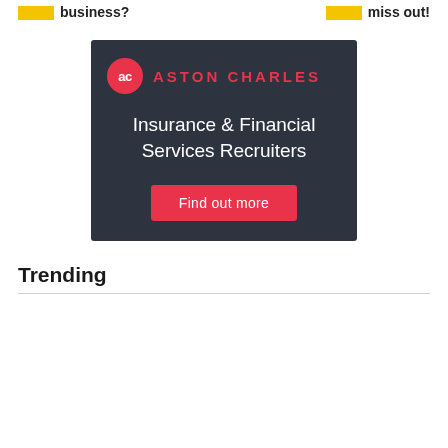business?
miss out!
[Figure (logo): Aston Charles Insurance & Financial Services Recruiters advertisement banner with dark navy background, red circle AC logo, red brand name, white tagline text, and red 'Find out more' button]
Trending